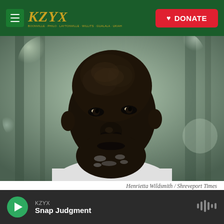KZYX
[Figure (photo): Close-up portrait of Brandon Jackson, a Black man with a shaved head and short salt-and-pepper beard, looking upward against a blurred outdoor background]
Henrietta Wildsmith / Shreveport Times
Brandon Jackson was released on parole last month. He spent 25 years in prison after being convicted by a split jury.
KZYX
Snap Judgment